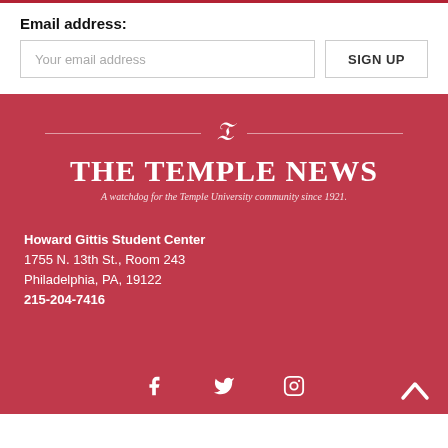Email address:
Your email address
SIGN UP
[Figure (logo): The Temple News logo with decorative T icon and tagline 'A watchdog for the Temple University community since 1921.']
Howard Gittis Student Center
1755 N. 13th St., Room 243
Philadelphia, PA, 19122
215-204-7416
[Figure (infographic): Social media icons: Facebook, Twitter, Instagram, and a back-to-top chevron arrow]